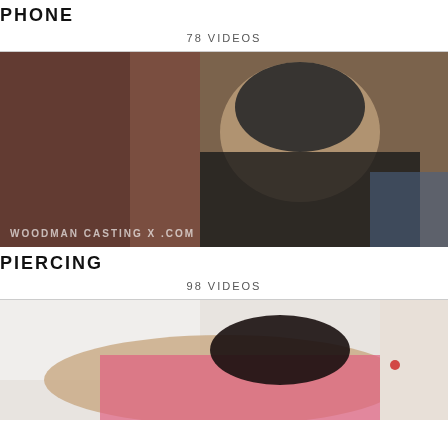PHONE
78 VIDEOS
[Figure (photo): Thumbnail image for Phone video category showing two people on a couch with watermark text]
PIERCING
98 VIDEOS
[Figure (photo): Thumbnail image for third video category showing a woman in pink on a bed/couch]